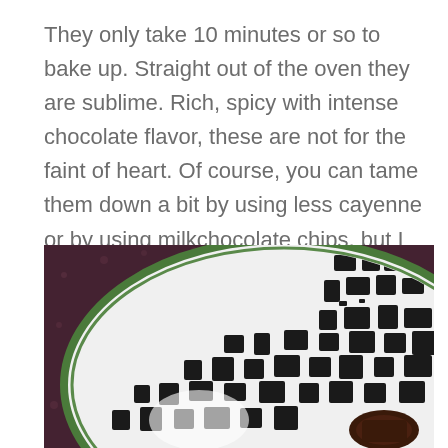They only take 10 minutes or so to bake up. Straight out of the oven they are sublime. Rich, spicy with intense chocolate flavor, these are not for the faint of heart. Of course, you can tame them down a bit by using less cayenne or by using milkchocolate chips, but I urge you, to give these a try! I found them to be a medium spice level. My husband thought that they were mild. That being said, adjust accordingly!
[Figure (photo): A decorative plate with dark Asian-style pattern printed on it, placed on a dark purple/maroon textured surface. A small chocolate brownie piece is visible in the lower right corner of the plate.]